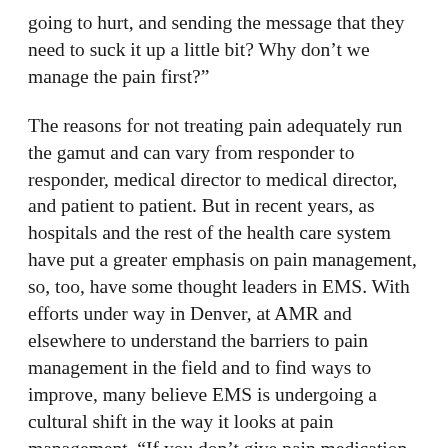going to hurt, and sending the message that they need to suck it up a little bit? Why don’t we manage the pain first?”
The reasons for not treating pain adequately run the gamut and can vary from responder to responder, medical director to medical director, and patient to patient. But in recent years, as hospitals and the rest of the health care system have put a greater emphasis on pain management, so, too, have some thought leaders in EMS. With efforts under way in Denver, at AMR and elsewhere to understand the barriers to pain management in the field and to find ways to improve, many believe EMS is undergoing a cultural shift in the way it looks at pain management. “If you don’t give pain medication to somebody who needs it, it prolongs unnecessary suffering,” says Taigman, who is on the leadership team of a quality improvement initiative that includes pain management at AMR. “We are here to take